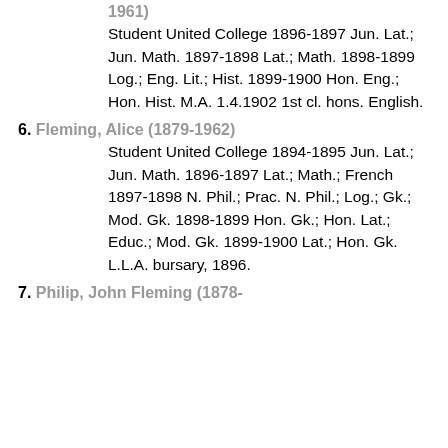1961) Student United College 1896-1897 Jun. Lat.; Jun. Math. 1897-1898 Lat.; Math. 1898-1899 Log.; Eng. Lit.; Hist. 1899-1900 Hon. Eng.; Hon. Hist. M.A. 1.4.1902 1st cl. hons. English.
6. Fleming, Alice (1879-1962) Student United College 1894-1895 Jun. Lat.; Jun. Math. 1896-1897 Lat.; Math.; French 1897-1898 N. Phil.; Prac. N. Phil.; Log.; Gk.; Mod. Gk. 1898-1899 Hon. Gk.; Hon. Lat.; Educ.; Mod. Gk. 1899-1900 Lat.; Hon. Gk. L.L.A. bursary, 1896.
7. Philip, John Fleming (1878-